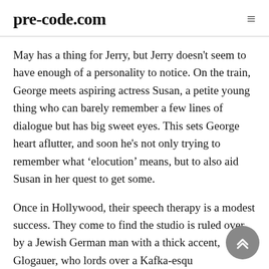pre-code.com
May has a thing for Jerry, but Jerry doesn't seem to have enough of a personality to notice. On the train, George meets aspiring actress Susan, a petite young thing who can barely remember a few lines of dialogue but has big sweet eyes. This sets George heart aflutter, and soon he's not only trying to remember what ‘elocution’ means, but to also aid Susan in her quest to get some.
Once in Hollywood, their speech therapy is a modest success. They come to find the studio is ruled over by a Jewish German man with a thick accent, Glogauer, who lords over a Kafka-esque world of misspent funds and oversized egos. A playwright, Lawrence Vail, had been brought out